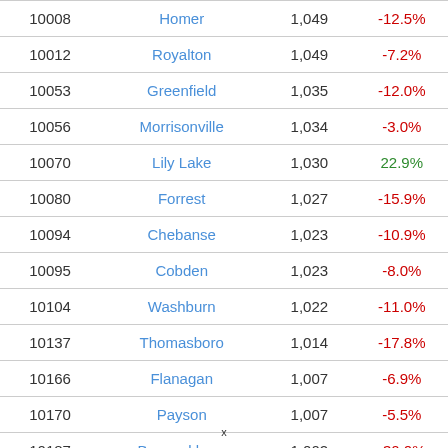|  |  |  |  |
| --- | --- | --- | --- |
| 10008 | Homer | 1,049 | -12.5% |
| 10012 | Royalton | 1,049 | -7.2% |
| 10053 | Greenfield | 1,035 | -12.0% |
| 10056 | Morrisonville | 1,034 | -3.0% |
| 10070 | Lily Lake | 1,030 | 22.9% |
| 10080 | Forrest | 1,027 | -15.9% |
| 10094 | Chebanse | 1,023 | -10.9% |
| 10095 | Cobden | 1,023 | -8.0% |
| 10104 | Washburn | 1,022 | -11.0% |
| 10137 | Thomasboro | 1,014 | -17.8% |
| 10166 | Flanagan | 1,007 | -6.9% |
| 10170 | Payson | 1,007 | -5.5% |
| 10187 | Bannockburn | 1,002 | -30.0% |